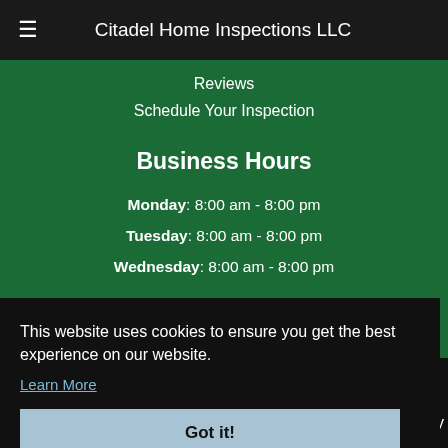☰  Citadel Home Inspections LLC
Reviews
Schedule Your Inspection
Business Hours
Monday: 8:00 am - 8:00 pm
Tuesday: 8:00 am - 8:00 pm
Wednesday: 8:00 am - 8:00 pm
This website uses cookies to ensure you get the best experience on our website.
Learn More
Got it!
Privacy